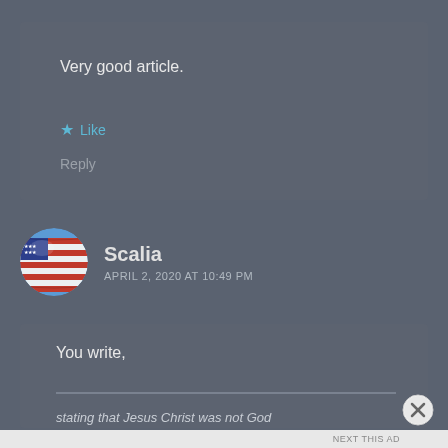Very good article.
★ Like
Reply
Scalia
APRIL 2, 2020 AT 10:49 PM
[Figure (illustration): Circular avatar with US flag waving against blue sky background]
You write,
stating that Jesus Christ was not God